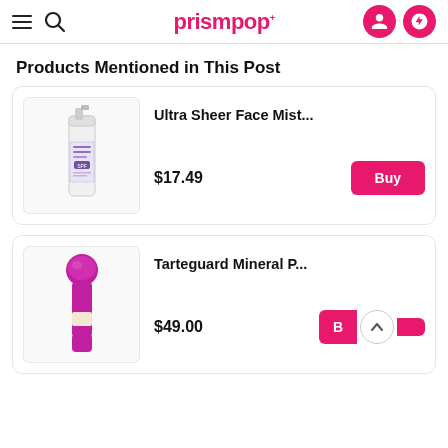prismpop
Products Mentioned in This Post
[Figure (photo): Product image of Ultra Sheer Face Mist sunscreen spray bottle (Neutrogena), white bottle with purple label]
Ultra Sheer Face Mist...
$17.49
[Figure (photo): Product image of Tarteguard Mineral P... - purple stick/pen shaped mineral powder sunscreen product]
Tarteguard Mineral P...
$49.00